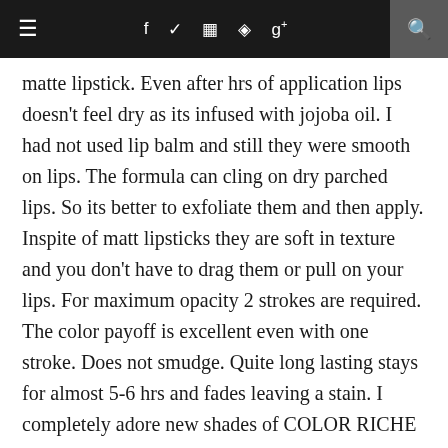≡  f  ✦  ☷  ⊕  g+  🔍
matte lipstick. Even after hrs of application lips doesn't feel dry as its infused with jojoba oil. I had not used lip balm and still they were smooth on lips. The formula can cling on dry parched lips. So its better to exfoliate them and then apply. Inspite of matt lipsticks they are soft in texture and you don't have to drag them or pull on your lips. For maximum opacity 2 strokes are required. The color payoff is excellent even with one stroke. Does not smudge. Quite long lasting stays for almost 5-6 hrs and fades leaving a stain. I completely adore new shades of COLOR RICHE MOIST MATTE LIPSTICK. Also they are priced same as compared to their previous range of lipsticks its of RS.925/- You need to try this